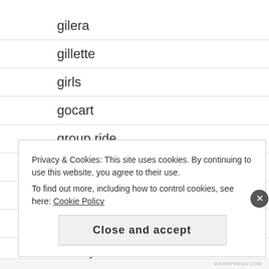gilera
gillette
girls
gocart
group ride
group shot
haiku
hardtail
Harley
Privacy & Cookies: This site uses cookies. By continuing to use this website, you agree to their use.
To find out more, including how to control cookies, see here: Cookie Policy
Close and accept
WORDPRESS.COM